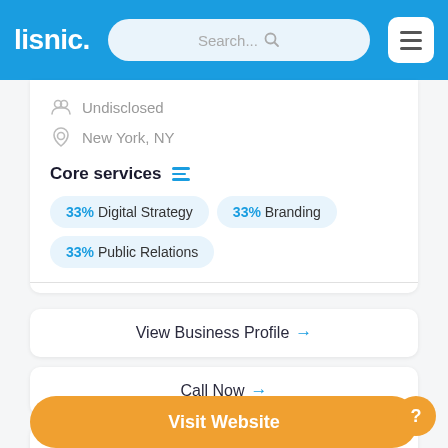lisnic. Search...
Undisclosed
New York, NY
Core services
33% Digital Strategy
33% Branding
33% Public Relations
View Business Profile →
Call Now →
Request Quote →
Visit Website